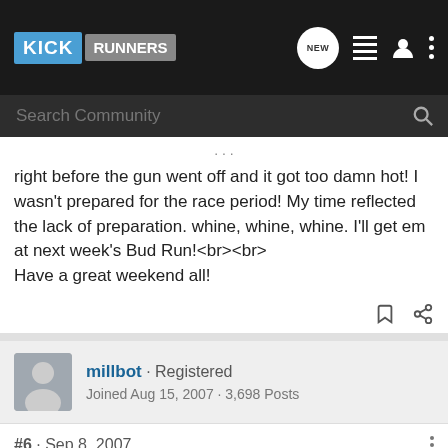KICK RUNNERS
right before the gun went off and it got too damn hot! I wasn't prepared for the race period! My time reflected the lack of preparation. whine, whine, whine. I'll get em at next week's Bud Run!<br><br>
Have a great weekend all!
millbot · Registered
Joined Aug 15, 2007 · 3,698 Posts
#6 · Sep 8, 2007
□Hey all!<br><br>
I took Puddinhead the semi wonder dog for a run this morning